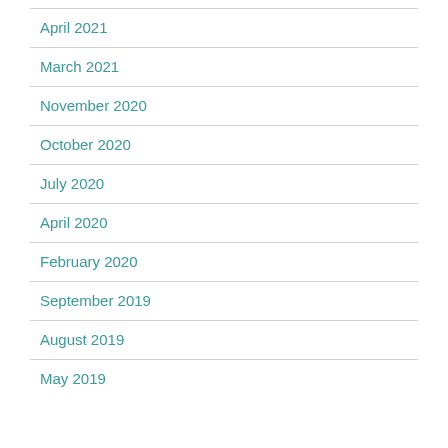April 2021
March 2021
November 2020
October 2020
July 2020
April 2020
February 2020
September 2019
August 2019
May 2019